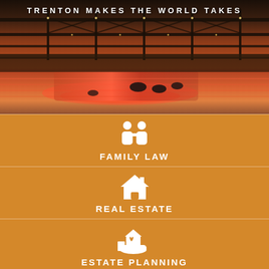[Figure (photo): Aerial/eye-level photo of Trenton Makes bridge at dusk over a river, with glowing orange-pink reflections on water. Text overlay reads TRENTON MAKES THE WORLD TAKES in white lettering across the bridge girders.]
[Figure (infographic): Orange background panel with white icon of two people (family) and text FAMILY LAW below]
[Figure (infographic): Orange background panel with white house icon and text REAL ESTATE below]
[Figure (infographic): Orange background panel with white icon of a house with heart on a hand and text ESTATE PLANNING below]